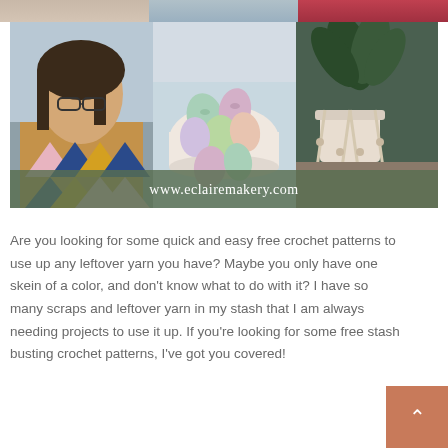[Figure (photo): Collage of three photos: woman wearing colorful crochet cowl on left, pastel crocheted Easter eggs in a bowl in the middle, and a plant in a macrame hanger on the right. A green banner overlay reads www.eclairemakery.com]
Are you looking for some quick and easy free crochet patterns to use up any leftover yarn you have? Maybe you only have one skein of a color, and don’t know what to do with it? I have so many scraps and leftover yarn in my stash that I am always needing projects to use it up. If you’re looking for some free stash busting crochet patterns, I’ve got you covered!